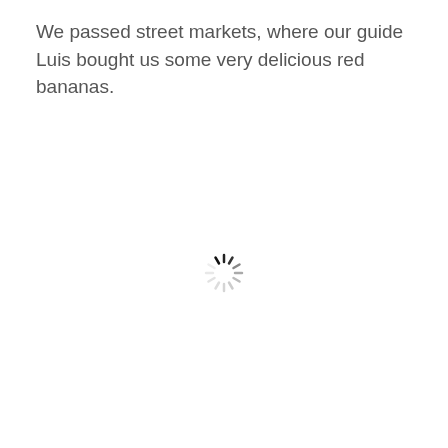We passed street markets, where our guide Luis bought us some very delicious red bananas.
[Figure (illustration): A loading spinner icon (circular spinner with radial lines, partially dark/black segments at top indicating animation state)]